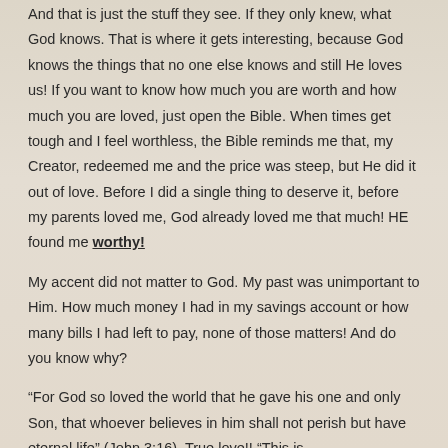And that is just the stuff they see.  If they only knew, what God knows.  That is where it gets interesting, because God knows the things that no one else knows and still He loves us!  If you want to know how much you are worth and how much you are loved, just open the Bible.  When times get tough and I feel worthless, the Bible reminds me that, my Creator, redeemed me and the price was steep, but He did it out of love.  Before I did a single thing to deserve it, before my parents loved me, God already loved me that much!  HE found me worthy!
My accent did not matter to God.  My past was unimportant to Him.  How much money I had in my savings account or how many bills I had left to pay, none of those matters!  And do you know why?
“For God so loved the world that he gave his one and only Son, that whoever believes in him shall not perish but have eternal life” (John 3:16).  True love!!  “This is